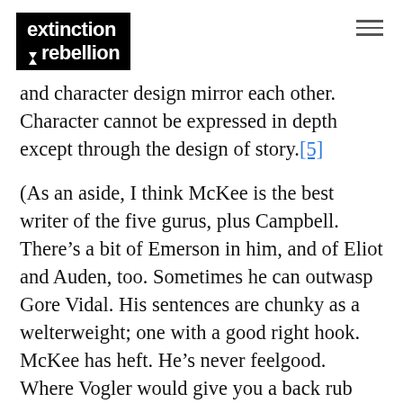extinction rebellion
and character design mirror each other. Character cannot be expressed in depth except through the design of story.[5]
(As an aside, I think McKee is the best writer of the five gurus, plus Campbell. There’s a bit of Emerson in him, and of Eliot and Auden, too. Sometimes he can outwasp Gore Vidal. His sentences are chunky as a welterweight; one with a good right hook. McKee has heft. He’s never feelgood. Where Vogler would give you a back rub and Snyder a pep talk, McKee would hand you